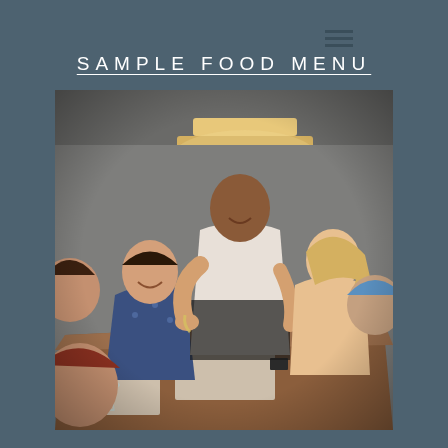Sample food menu
[Figure (photo): A restaurant dining scene with a waiter serving guests at a long wooden table. A tiered pendant lamp illuminates the scene from above. Multiple wine glasses are on the table. Guests are seated around the table.]